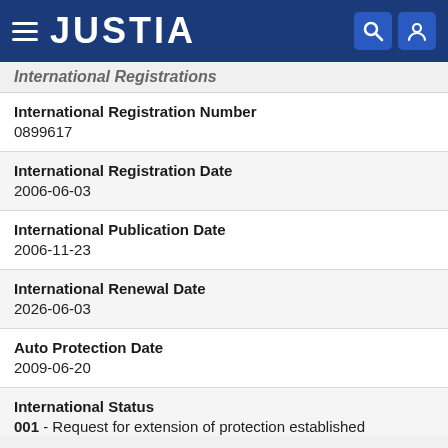JUSTIA
International Registrations
International Registration Number
0899617
International Registration Date
2006-06-03
International Publication Date
2006-11-23
International Renewal Date
2026-06-03
Auto Protection Date
2009-06-20
International Status
001 - Request for extension of protection established